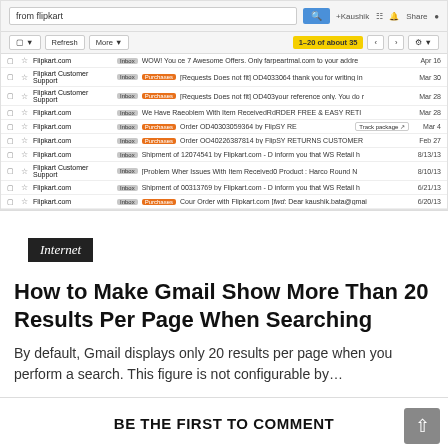[Figure (screenshot): Gmail inbox screenshot showing search results for 'from flipkart', displaying approximately 12 email rows from Flipkart.com and Flipkart Customer Support with dates ranging from 1/5/13 to Apr 16. Toolbar shows '1-20 of about 35' highlighted in yellow.]
Internet
How to Make Gmail Show More Than 20 Results Per Page When Searching
By default, Gmail displays only 20 results per page when you perform a search. This figure is not configurable by...
BE THE FIRST TO COMMENT